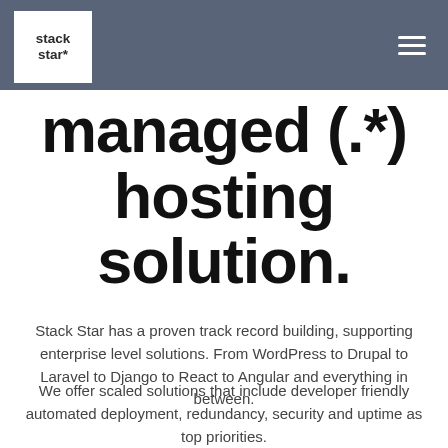stack star*
managed (.*) hosting solution.
Stack Star has a proven track record building, supporting enterprise level solutions. From WordPress to Drupal to Laravel to Django to React to Angular and everything in between.
We offer scaled solutions that include developer friendly automated deployment, redundancy, security and uptime as top priorities.